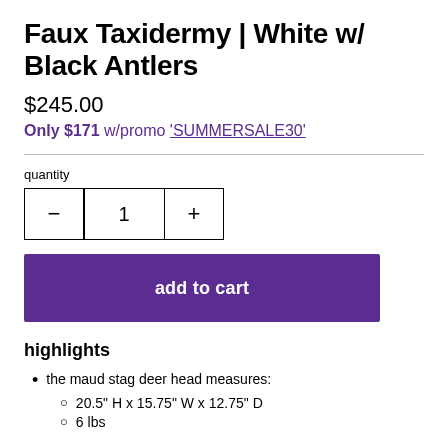Faux Taxidermy | White w/ Black Antlers
$245.00
Only $171 w/promo 'SUMMERSALE30'
quantity
add to cart
highlights
the maud stag deer head measures:
20.5" H x 15.75" W x 12.75" D
6 lbs